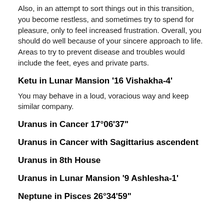Also, in an attempt to sort things out in this transition, you become restless, and sometimes try to spend for pleasure, only to feel increased frustration. Overall, you should do well because of your sincere approach to life. Areas to try to prevent disease and troubles would include the feet, eyes and private parts.
Ketu in Lunar Mansion '16 Vishakha-4'
You may behave in a loud, voracious way and keep similar company.
Uranus in Cancer 17°06'37"
Uranus in Cancer with Sagittarius ascendent
Uranus in 8th House
Uranus in Lunar Mansion '9 Ashlesha-1'
Neptune in Pisces 26°34'59"